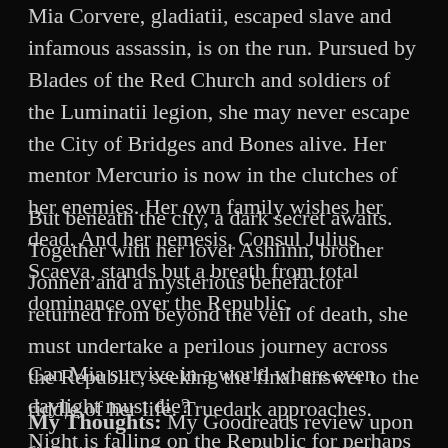Mia Corvere, gladiatii, escaped slave and infamous assassin, is on the run. Pursued by Blades of the Red Church and soldiers of the Luminatii legion, she may never escape the City of Bridges and Bones alive. Her mentor Mercurio is now in the clutches of her enemies. Her own family wishes her dead. And her nemesis, Consul Julius Scaeva, stands but a breath from total dominance over the Republic.
But beneath the city, a dark secret awaits. Together with her lover Ashlinn, brother Jonnen and a mysterious benefactor returned from beyond the veil of death, she must undertake a perilous journey across the Republic, seeking the final answer to the riddle of her life. Truedark approaches. Night is falling on the Republic for perhaps the final time.
Can Mia survive in a world where even daylight must die?
My Thoughts: My Goodreads review upon finishing this book reads simply, “SHE. THEY. HE. I JUST. I CAN’T.